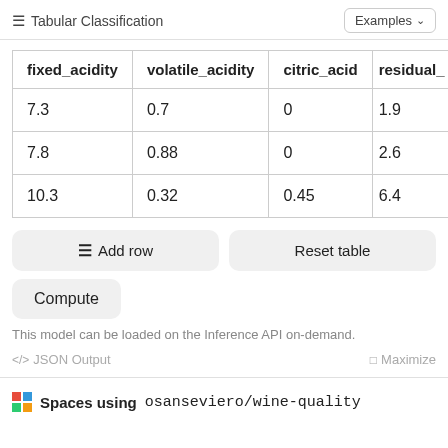Tabular Classification   Examples
| fixed_acidity | volatile_acidity | citric_acid | residual_ |
| --- | --- | --- | --- |
| 7.3 | 0.7 | 0 | 1.9 |
| 7.8 | 0.88 | 0 | 2.6 |
| 10.3 | 0.32 | 0.45 | 6.4 |
Add row
Reset table
Compute
This model can be loaded on the Inference API on-demand.
JSON Output   Maximize
Spaces using osanseviero/wine-quality